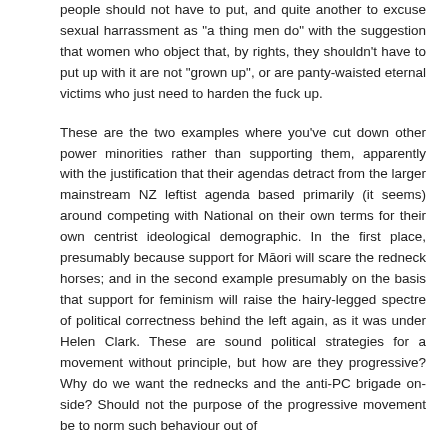people should not have to put, and quite another to excuse sexual harrassment as "a thing men do" with the suggestion that women who object that, by rights, they shouldn't have to put up with it are not "grown up", or are panty-waisted eternal victims who just need to harden the fuck up.
These are the two examples where you've cut down other power minorities rather than supporting them, apparently with the justification that their agendas detract from the larger mainstream NZ leftist agenda based primarily (it seems) around competing with National on their own terms for their own centrist ideological demographic. In the first place, presumably because support for Māori will scare the redneck horses; and in the second example presumably on the basis that support for feminism will raise the hairy-legged spectre of political correctness behind the left again, as it was under Helen Clark. These are sound political strategies for a movement without principle, but how are they progressive? Why do we want the rednecks and the anti-PC brigade on-side? Should not the purpose of the progressive movement be to norm such behaviour out of